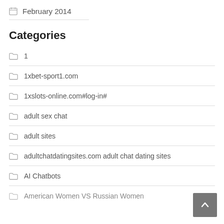February 2014
Categories
1
1xbet-sport1.com
1xslots-online.com#log-in#
adult sex chat
adult sites
adultchatdatingsites.com adult chat dating sites
AI Chatbots
American Women VS Russian Women